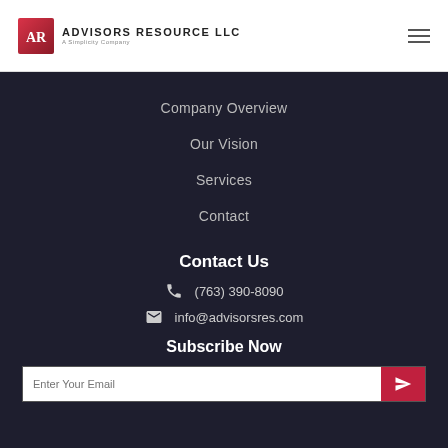ADVISORS RESOURCE LLC — A Simplicity Company
Company Overview
Our Vision
Services
Contact
Contact Us
(763) 390-8090
info@advisorsres.com
Subscribe Now
Enter Your Email